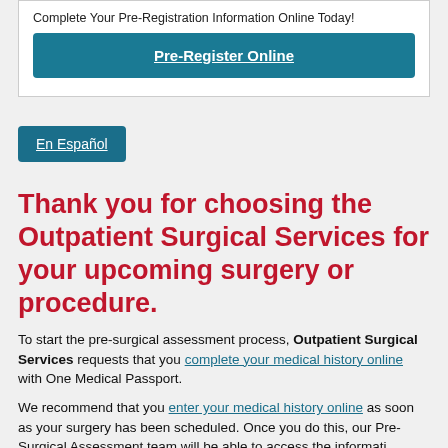Complete Your Pre-Registration Information Online Today!
Pre-Register Online
En Español
Thank you for choosing the Outpatient Surgical Services for your upcoming surgery or procedure.
To start the pre-surgical assessment process, Outpatient Surgical Services requests that you complete your medical history online with One Medical Passport.
We recommend that you enter your medical history online as soon as your surgery has been scheduled. Once you do this, our Pre-Surgical Assessment team will be able to access the information